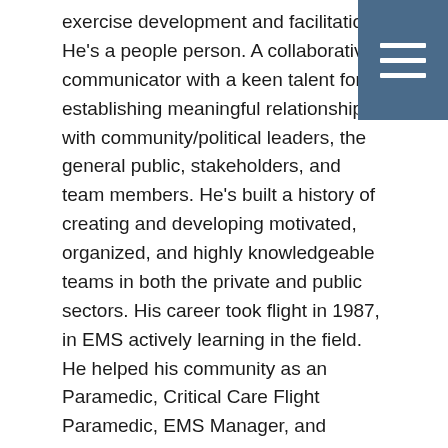exercise development and facilitation. He's a people person. A collaborative communicator with a keen talent for establishing meaningful relationships with community/political leaders, the general public, stakeholders, and team members. He's built a history of creating and developing motivated, organized, and highly knowledgeable teams in both the private and public sectors. His career took flight in 1987, in EMS actively learning in the field. He helped his community as an Paramedic, Critical Care Flight Paramedic, EMS Manager, and eventually a wily EMS & EM Director. He served as the State chairman in the Florida Jaycees, breeding a strong passion for the Emergency Management field while participating in Hurricane Andrew relief. He also held amazing, insightful positions at the local level collaborating with multiple table tops, functional exercises, and declared disasters.
For the last several years, he has been deeply involved as a consultant assisting various emergency management projects for FEMA, hospital systems, local governments, non-governmental organizations, and private businesses as a SME, Technical Specialist, and a Project Manager. A well versed specialist passionate for helping people and organizations.